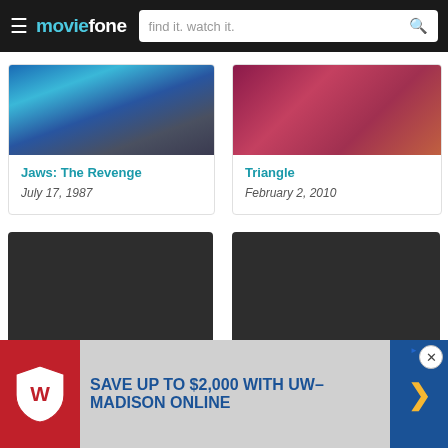moviefone — find it. watch it.
[Figure (screenshot): Movie thumbnail for Jaws: The Revenge showing blue water/building]
Jaws: The Revenge
July 17, 1987
[Figure (screenshot): Movie thumbnail for Triangle showing pinkish/red tones]
Triangle
February 2, 2010
[Figure (logo): Moviefone placeholder poster card left — POSTER NOT YET AVAILABLE]
[Figure (logo): Moviefone placeholder poster card right — POSTER NOT YET AVAILABLE]
[Figure (infographic): Advertisement: SAVE UP TO $2,000 WITH UW-MADISON ONLINE with UW shield logo and arrow button]